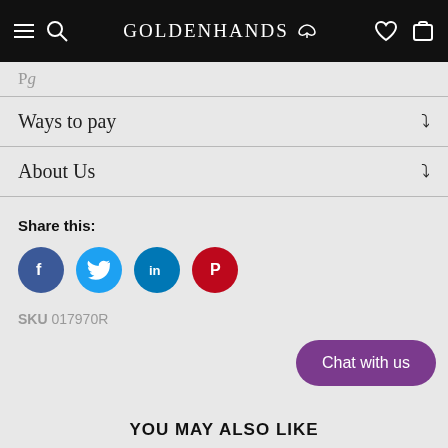GOLDENHANDS
Pg
Ways to pay
About Us
Share this:
[Figure (infographic): Four social media share buttons: Facebook (blue circle with f), Twitter (light blue circle with bird), LinkedIn (blue circle with in), Pinterest (red circle with P)]
SKU 017970R
Chat with us
YOU MAY ALSO LIKE